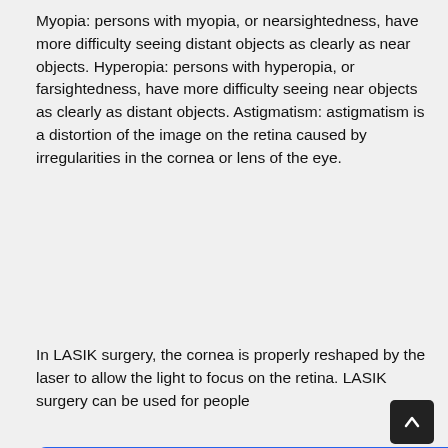Myopia: persons with myopia, or nearsightedness, have more difficulty seeing distant objects as clearly as near objects. Hyperopia: persons with hyperopia, or farsightedness, have more difficulty seeing near objects as clearly as distant objects. Astigmatism: astigmatism is a distortion of the image on the retina caused by irregularities in the cornea or lens of the eye.
In LASIK surgery, the cornea is properly reshaped by the laser to allow the light to focus on the retina. LASIK surgery can be used for people [text continues behind modal] [partial text visible: ...ed in] [partial text: ...orneal] [partial text: ...ced.] [partial text: ...as] keratectomy ( PRK ). LASIK combines the technique of creating a
This website uses cookies to ensure you get the best experience on our website. Our partners will collect data and use cookies for ad personalization and measurement.
Learn how we and our partners collect and use data.
OK